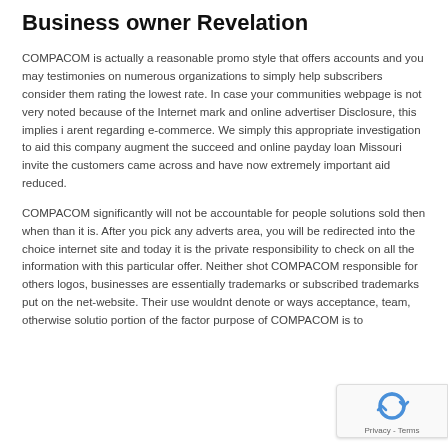Business owner Revelation
COMPACOM is actually a reasonable promo style that offers accounts and you may testimonies on numerous organizations to simply help subscribers consider them rating the lowest rate. In case your communities webpage is not very noted because of the Internet mark and online advertiser Disclosure, this implies i arent regarding e-commerce. We simply this appropriate investigation to aid this company augment the succeed and online payday loan Missouri invite the customers came across and have now extremely important aid reduced.
COMPACOM significantly will not be accountable for people solutions sold then when than it is. After you pick any adverts area, you will be redirected into the choice internet site and today it is the private responsibility to check on all the information with this particular offer. Neither shot COMPACOM responsible for others logos, businesses are essentially trademarks or subscribed trademarks put on the net-website. Their use wouldnt denote or ways acceptance, team, otherwise solutio portion of the factor purpose of COMPACOM is to